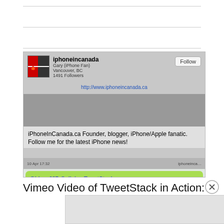[Figure (screenshot): Screenshot of a Twitter/iPhone app showing the iphoneincanada profile card with name, Gary (iPhone Fan), Vancouver BC, 1491 Followers, a Follow button, URL http://www.iphoneincanada.ca, bio text 'iPhoneInCanada.ca Founder, blogger, iPhone/Apple fanatic. Follow me for the latest iPhone news!', and a green tweet bubble with '@bluey037 @ellajoe TweetStack is an iPhone twitter app that has']
Vimeo Video of TweetStack in Action:
[Figure (screenshot): Partial advertisement panel with a close (X) button in a circle, and a grey/light advertisement box at the bottom of the page]